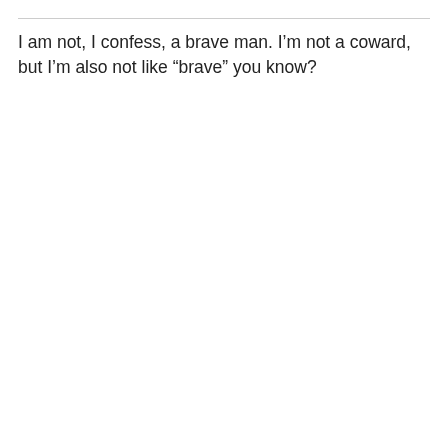I am not, I confess, a brave man. I'm not a coward, but I'm also not like “brave” you know?